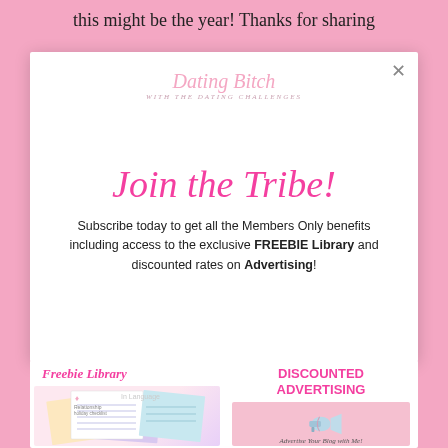this might be the year! Thanks for sharing
[Figure (logo): Dating Bitch blog logo in pink script with tagline]
Join the Tribe!
Subscribe today to get all the Members Only benefits including access to the exclusive FREEBIE Library and discounted rates on Advertising!
[Figure (illustration): Freebie Library panel showing colorful worksheet papers fanned out]
[Figure (illustration): Discounted Advertising panel with megaphone image and text 'Advertise Your Blog with Me!']